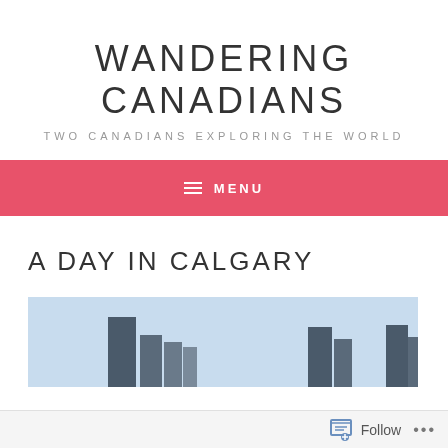WANDERING CANADIANS
TWO CANADIANS EXPLORING THE WORLD
≡ MENU
A DAY IN CALGARY
[Figure (photo): Cityscape of Calgary showing downtown buildings against a light blue sky]
Follow ...